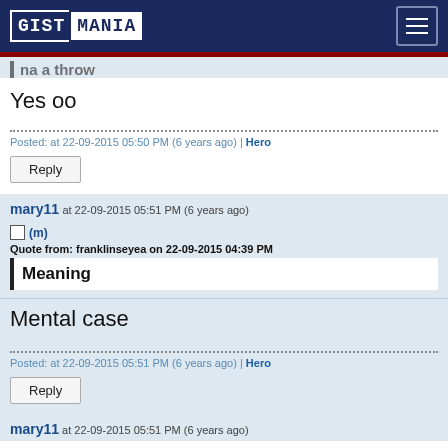GISTMANIA
na a throw
Yes oo
Posted: at 22-09-2015 05:50 PM (6 years ago) | Hero
Reply
mary11 at 22-09-2015 05:51 PM (6 years ago)
(m)
Quote from: franklinseyea on 22-09-2015 04:39 PM
Meaning
Mental case
Posted: at 22-09-2015 05:51 PM (6 years ago) | Hero
Reply
mary11 at 22-09-2015 05:51 PM (6 years ago)